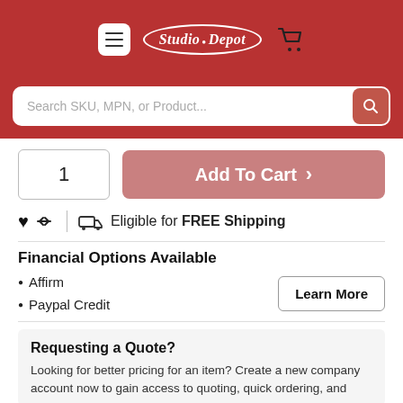[Figure (screenshot): Studio Depot website header with hamburger menu, oval logo, and shopping cart icon on red background]
Search SKU, MPN, or Product...
1
Add To Cart >
Eligible for FREE Shipping
Financial Options Available
Affirm
Paypal Credit
Learn More
Requesting a Quote?
Looking for better pricing for an item? Create a new company account now to gain access to quoting, quick ordering, and